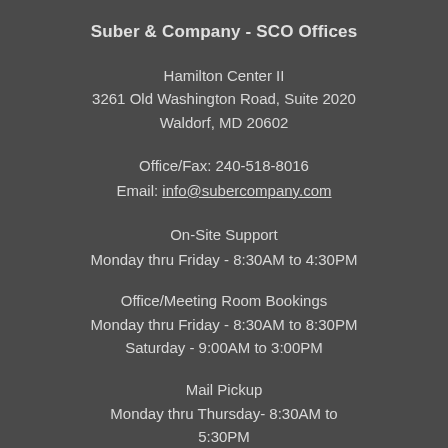Suber & Company - SCO Offices
Hamilton Center II
3261 Old Washington Road, Suite 2020
Waldorf, MD 20602
Office/Fax: 240-518-8016
Email: info@subercompany.com
On-Site Support
Monday thru Friday - 8:30AM to 4:30PM
Office/Meeting Room Bookings
Monday thru Friday - 8:30AM to 8:30PM
Saturday - 9:00AM to 3:00PM
Mail Pickup
Monday thru Thursday- 8:30AM to 5:30PM
Friday- 8:30AM to 4:30PM